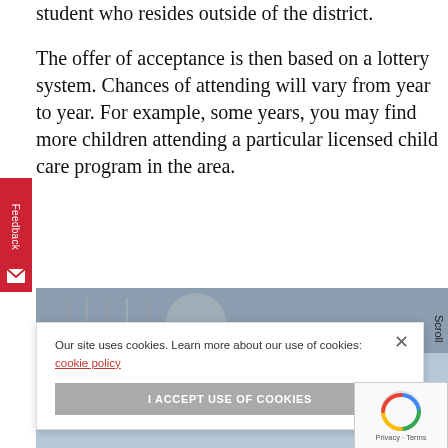within the district, and then finally (d) a student who resides outside of the district.
The offer of acceptance is then based on a lottery system. Chances of attending will vary from year to year. For example, some years, you may find more children attending a particular licensed child care program in the area.
[Figure (screenshot): Screenshot of a webpage showing a cookie consent banner with text 'Our site uses cookies. Learn more about our use of cookies: cookie policy' and a button 'I ACCEPT USE OF COOKIES', with a close X button. Background shows partial images of what appears to be a building/school. A 'Feedback' tab is visible on the left, and a 'Scroll' label and reCAPTCHA widget on the right.]